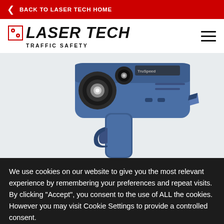BACK TO LASER TECH HOME
[Figure (logo): Laser Tech Traffic Safety logo with red circular icon and bold italic text]
[Figure (photo): Blue handheld laser speed gun device (TruSpeed model) pointing left, on white background]
We use cookies on our website to give you the most relevant experience by remembering your preferences and repeat visits. By clicking “Accept”, you consent to the use of ALL the cookies. However you may visit Cookie Settings to provide a controlled consent.
Cookie settings
ACCEPT